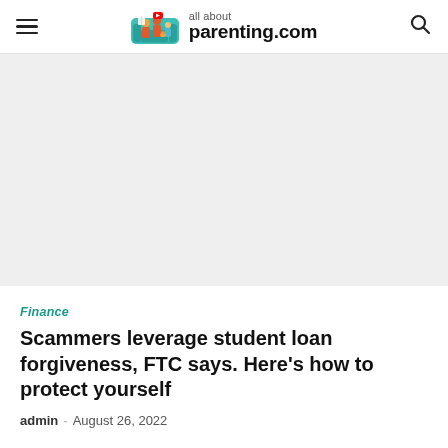all about parenting.com
[Figure (illustration): Gray placeholder banner area representing an advertisement or hero image space]
Finance
Scammers leverage student loan forgiveness, FTC says. Here’s how to protect yourself
admin – August 26, 2022